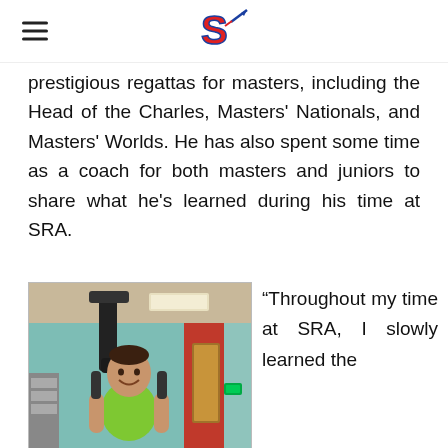S (SRA logo)
prestigious regattas for masters, including the Head of the Charles, Masters' Nationals, and Masters' Worlds. He has also spent some time as a coach for both masters and juniors to share what he's learned during his time at SRA.
[Figure (photo): Man smiling in a gym, wearing a green tank top, using exercise equipment. The gym has teal walls and a red accent wall in the background.]
“Throughout my time at SRA, I slowly learned the